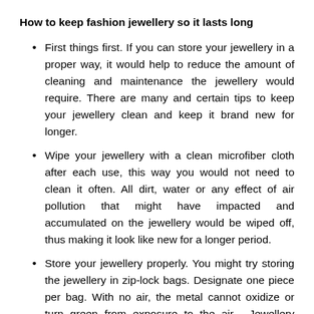How to keep fashion jewellery so it lasts long
First things first. If you can store your jewellery in a proper way, it would help to reduce the amount of cleaning and maintenance the jewellery would require. There are many and certain tips to keep your jewellery clean and keep it brand new for longer.
Wipe your jewellery with a clean microfiber cloth after each use, this way you would not need to clean it often. All dirt, water or any effect of air pollution that might have impacted and accumulated on the jewellery would be wiped off, thus making it look like new for a longer period.
Store your jewellery properly. You might try storing the jewellery in zip-lock bags. Designate one piece per bag. With no air, the metal cannot oxidize or turn green from exposure to the air. Jewellery boxes with a closing lid